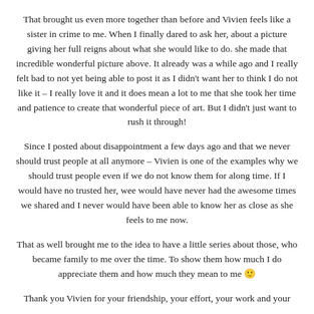That brought us even more together than before and Vivien feels like a sister in crime to me. When I finally dared to ask her, about a picture giving her full reigns about what she would like to do. she made that incredible wonderful picture above. It already was a while ago and I really felt bad to not yet being able to post it as I didn't want her to think I do not like it – I really love it and it does mean a lot to me that she took her time and patience to create that wonderful piece of art. But I didn't just want to rush it through!
Since I posted about disappointment a few days ago and that we never should trust people at all anymore – Vivien is one of the examples why we should trust people even if we do not know them for along time. If I would have no trusted her, wee would have never had the awesome times we shared and I never would have been able to know her as close as she feels to me now.
That as well brought me to the idea to have a little series about those, who became family to me over the time. To show them how much I do appreciate them and how much they mean to me 🙂
Thank you Vivien for your friendship, your effort, your work and your